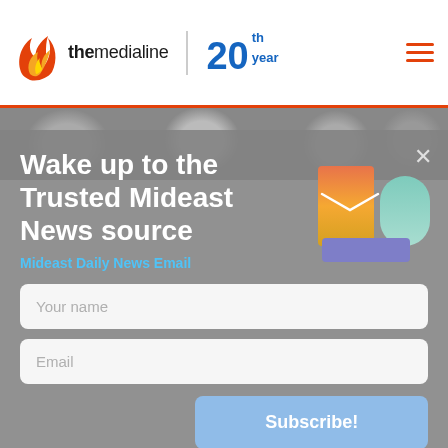[Figure (logo): The Media Line logo with flame icon and '20th year' badge in blue]
[Figure (photo): Blurred background photo of people with face masks]
Wake up to the Trusted Mideast News source
Mideast Daily News Email
[Figure (illustration): Stylized mailbox illustration with warm and cool color panels]
Your name
Email
Subscribe!
By subscribing, you agree to The Media Line terms of use and privacy policy.